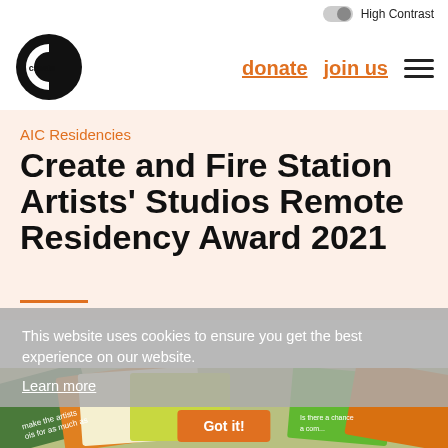High Contrast
[Figure (logo): Create logo — black circle with white C shape and 'create' text in black]
donate   join us
AIC Residencies
Create and Fire Station Artists' Studios Remote Residency Award 2021
This website uses cookies to ensure you get the best experience on our website. Learn more
[Figure (photo): Close-up photo of colorful paint swatches or sample cards fanned out in orange, yellow-green, and green tones with text fragments visible: 'make the artists', 'ois for as much as', 'Is there a chance', 'a com...']